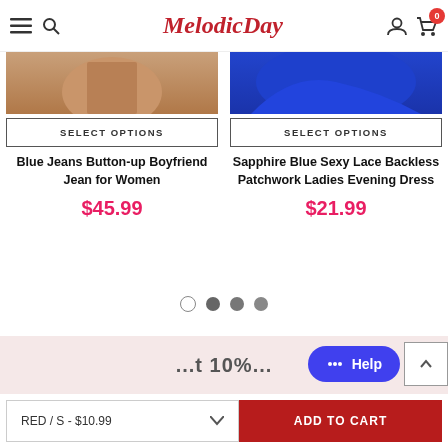MelodicDay — Navigation header with hamburger menu, search, logo, account and cart (0 items)
[Figure (screenshot): Partial product image — Blue Jeans Button-up Boyfriend Jean for Women]
SELECT OPTIONS
Blue Jeans Button-up Boyfriend Jean for Women
$45.99
[Figure (screenshot): Partial product image — Sapphire Blue Sexy Lace Backless Patchwork Ladies Evening Dress (blue fabric visible)]
SELECT OPTIONS
Sapphire Blue Sexy Lace Backless Patchwork Ladies Evening Dress
$21.99
[Figure (other): Carousel pagination dots: 4 dots (first empty/white, rest filled grey)]
[Figure (other): Help chat button (blue pill shape) and back-to-top arrow button]
...t 10%...
RED / S - $10.99
ADD TO CART